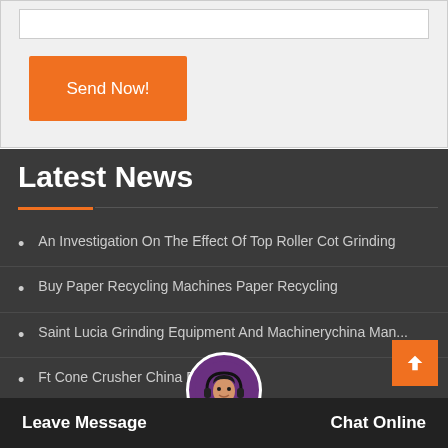[Figure (screenshot): Input bar / text field at the top of a contact form section]
Send Now!
Latest News
An Investigation On The Effect Of Top Roller Cot Grinding
Buy Paper Recycling Machines Paper Recycling
Saint Lucia Grinding Equipment And Machinerychina Man...
Ft Cone Crusher China Fo... Used
...le Equ... Manuf...in...a
Leave Message   Chat Online